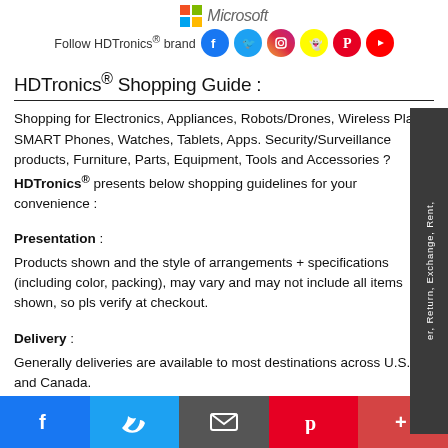Microsoft | Follow HDTronics® brand [social icons: Facebook, Twitter, Instagram, Snapchat, Pinterest, YouTube]
HDTronics® Shopping Guide :
Shopping for Electronics, Appliances, Robots/Drones, Wireless Plans, SMART Phones, Watches, Tablets, Apps. Security/Surveillance products, Furniture, Parts, Equipment, Tools and Accessories ? HDTronics® presents below shopping guidelines for your convenience :
Presentation :
Products shown and the style of arrangements + specifications (including color, packing), may vary and may not include all items shown, so pls verify at checkout.
Delivery :
Generally deliveries are available to most destinations across U.S. and Canada.
[Facebook] [Twitter] [Email] [Pinterest] [More]